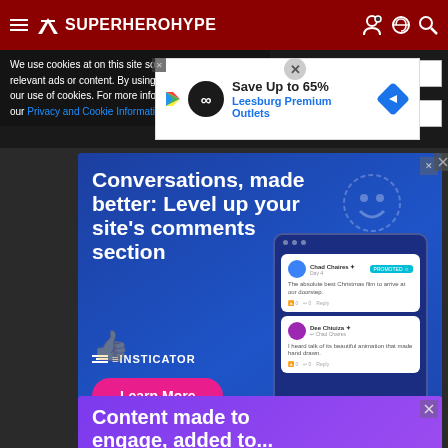SuperHeroHype
We use cookies at on this site so we can serve you relevant ads or content. By using this site, you agree to our use of cookies. For more information please read our Privacy and Cookie Information Policy
[Figure (screenshot): Ad banner: Save Up to 65% - Leesburg Premium Outlets]
[Figure (screenshot): Insticator ad: Conversations, made better: Level up your site's comments section. Learn More button. Shows mock comments from Chad Chaires and Dee Chiuiza.]
[Figure (screenshot): Purple ad: Content made to engage, added to...]